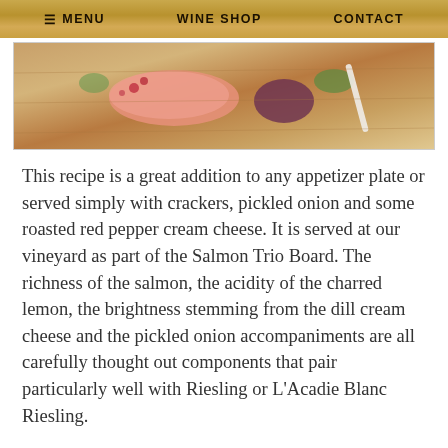≡ MENU   WINE SHOP   CONTACT
[Figure (photo): A charcuterie/appetizer board with salmon, crackers, and accompaniments on a wooden board]
This recipe is a great addition to any appetizer plate or served simply with crackers, pickled onion and some roasted red pepper cream cheese. It is served at our vineyard as part of the Salmon Trio Board. The richness of the salmon, the acidity of the charred lemon, the brightness stemming from the dill cream cheese and the pickled onion accompaniments are all carefully thought out components that pair particularly well with Riesling or L'Acadie Blanc Riesling.
Ingredients
Start this recipe about three days before you plan to